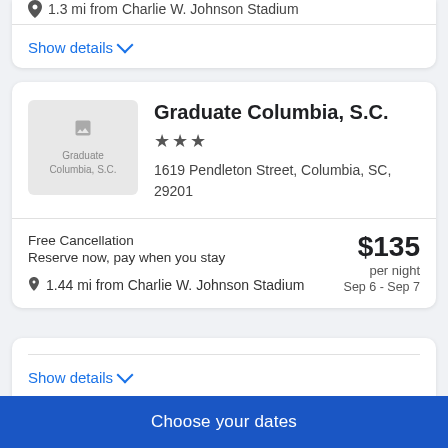1.3 mi from Charlie W. Johnson Stadium
Show details
Graduate Columbia, S.C.
★★★
1619 Pendleton Street, Columbia, SC, 29201
Free Cancellation
Reserve now, pay when you stay
1.44 mi from Charlie W. Johnson Stadium
$135 per night Sep 6 - Sep 7
Show details
Choose your dates